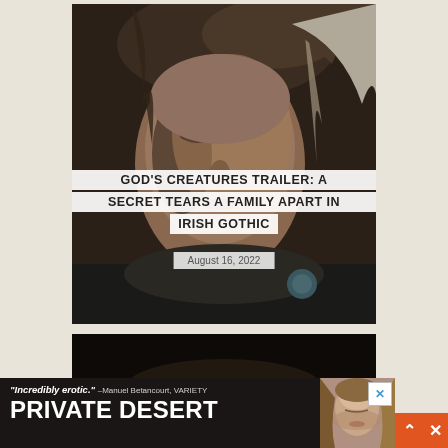[Figure (photo): Close-up photo of a middle-aged woman with light brown hair, looking slightly upward, dimly lit cinematic style. Movie still from God's Creatures.]
GOD'S CREATURES TRAILER: A SECRET TEARS A FAMILY APART IN IRISH GOTHIC
August 16, 2022
[Figure (photo): Partially visible dark cinematic image, second movie still.]
[Figure (photo): Advertisement banner: 'Incredibly erotic.' -Manuel Betancourt, VARIETY. PRIVATE DESERT. Shows a woman with closed eyes.]